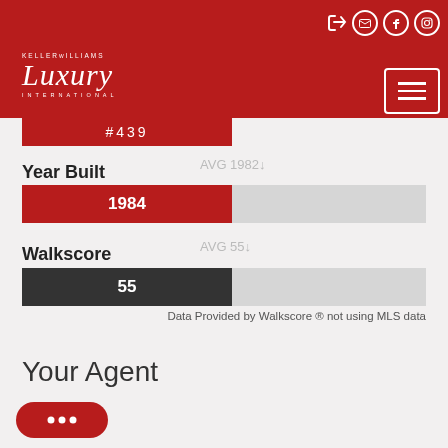Keller Williams Luxury International
#439
Year Built
[Figure (bar-chart): Year Built]
Walkscore
[Figure (bar-chart): Walkscore]
Data Provided by Walkscore ® not using MLS data
Your Agent